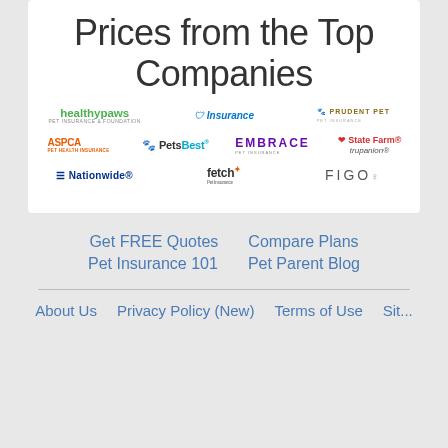Prices from the Top Companies
[Figure (logo): Grid of pet insurance company logos: Healthy Paws, Insurance (ASPCA brand), Prudent Pet, ASPCA Pet Health Insurance, Pets Best, Embrace Pet Insurance, State Farm / Trupanion, Nationwide, Fetch Pet Insurance, FIGO]
Get FREE Quotes
Compare Plans
Pet Insurance 101
Pet Parent Blog
About Us   Privacy Policy (New)   Terms of Use   Sit...